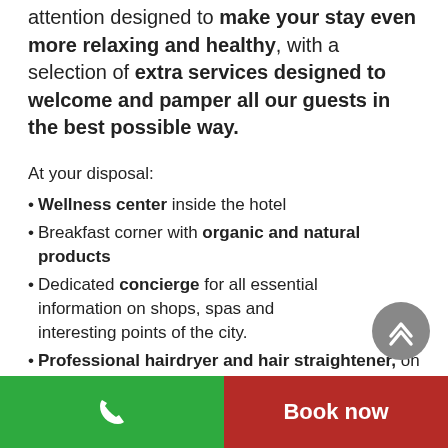attention designed to make your stay even more relaxing and healthy, with a selection of extra services designed to welcome and pamper all our guests in the best possible way.
At your disposal:
Wellness center inside the hotel
Breakfast corner with organic and natural products
Dedicated concierge for all essential information on shops, spas and interesting points of the city.
Professional hairdryer and hair straightener, on request at the reception
Agreement with a beautician, hairdresser and
Book now